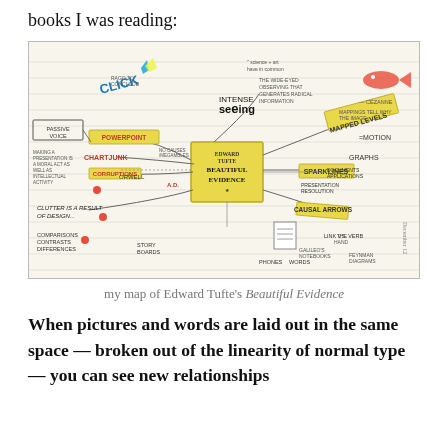books I was reading:
[Figure (illustration): Hand-drawn mind map centered on 'Edward Tufte Beautiful Evidence' with radiating branches covering topics like PowerPoint, Chartjunk, Sparklines, Intense Seeing, Clutter is a result of design, Causal Arrows, Comparisons Contrasts Differences, Passive Voice, and many other annotations in handwritten text with yellow highlights and small drawings]
my map of Edward Tufte's Beautiful Evidence
When pictures and words are laid out in the same space — broken out of the linearity of normal type — you can see new relationships